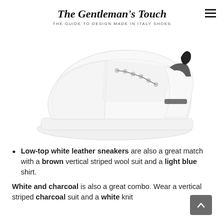cartheat polo, and then try to contrast this outfit with low-top white leather sneakers.
The Gentleman's Touch — THE GUIDE TO DESIGN MADE IN ITALY SHOES
[Figure (photo): White low-top leather sneakers with black accent details on a white background]
Low-top white leather sneakers are also a great match with a brown vertical striped wool suit and a light blue shirt.
White and charcoal is also a great combo. Wear a vertical striped charcoal suit and a white knit